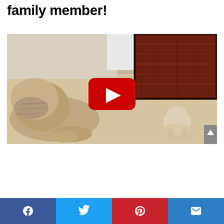family member!
[Figure (photo): YouTube video thumbnail showing an adult English Bulldog lying on a beige carpet on the left, facing a tiny newborn puppy on the right. A decorative rug is visible in the background top right. A red YouTube play button is overlaid in the center.]
Facebook | Twitter | Pinterest | Email social share buttons